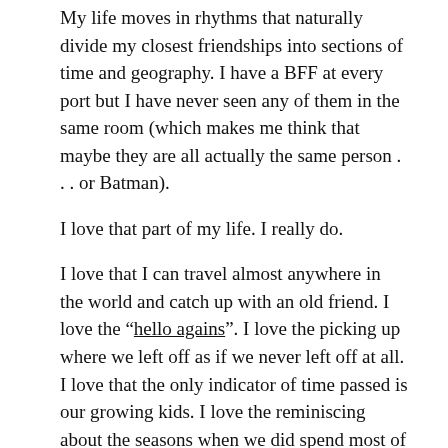My life moves in rhythms that naturally divide my closest friendships into sections of time and geography. I have a BFF at every port but I have never seen any of them in the same room (which makes me think that maybe they are all actually the same person . . . or Batman).
I love that part of my life. I really do.
I love that I can travel almost anywhere in the world and catch up with an old friend. I love the “hello agains”. I love the picking up where we left off as if we never left off at all. I love that the only indicator of time passed is our growing kids. I love the reminiscing about the seasons when we did spend most of our time together and I even love the falsely hopeful farewells.
“Come visit us.”